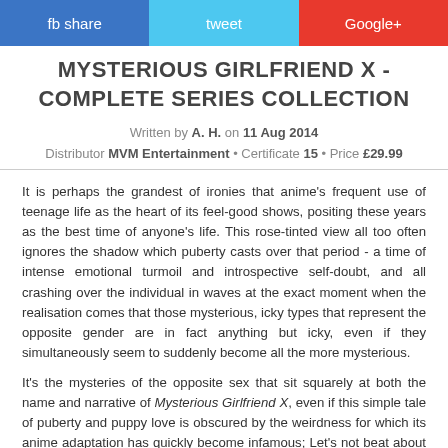[Figure (other): Social sharing bar with three buttons: fb share (blue), tweet (light blue), Google+ (red)]
MYSTERIOUS GIRLFRIEND X - COMPLETE SERIES COLLECTION
Written by A. H. on 11 Aug 2014
Distributor MVM Entertainment • Certificate 15 • Price £29.99
It is perhaps the grandest of ironies that anime's frequent use of teenage life as the heart of its feel-good shows, positing these years as the best time of anyone's life. This rose-tinted view all too often ignores the shadow which puberty casts over that period - a time of intense emotional turmoil and introspective self-doubt, and all crashing over the individual in waves at the exact moment when the realisation comes that those mysterious, icky types that represent the opposite gender are in fact anything but icky, even if they simultaneously seem to suddenly become all the more mysterious.
It's the mysteries of the opposite sex that sit squarely at both the name and narrative of Mysterious Girlfriend X, even if this simple tale of puberty and puppy love is obscured by the weirdness for which its anime adaptation has quickly become infamous; Let's not beat about the bush here - the series is